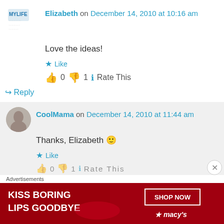Elizabeth on December 14, 2010 at 10:16 am
Love the ideas!
★ Like
👍 0 👎 1 ℹ Rate This
↪ Reply
CoolMama on December 14, 2010 at 11:44 am
Thanks, Elizabeth 🙂
★ Like
👍 0 👎 1 ℹ Rate This
Advertisements
[Figure (other): Macy's advertisement banner: KISS BORING LIPS GOODBYE with SHOP NOW button and Macy's star logo]